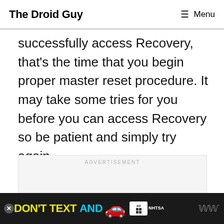The Droid Guy   ≡ Menu
successfully access Recovery, that's the time that you begin proper master reset procedure. It may take some tries for you before you can access Recovery so be patient and simply try again.
[Figure (other): Advertisement placeholder box with 'ADVERTISEMENT' label in light gray uppercase text]
[Figure (other): Bottom banner advertisement: DON'T TEXT AND [car emoji] with ad badge and NHTSA logo on dark background]